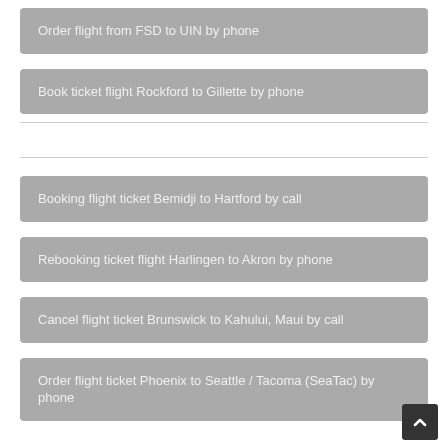Order flight from FSD to UIN by phone
Book ticket flight Rockford to Gillette by phone
Booking flight ticket Bemidji to Hartford by call
Rebooking ticket flight Harlingen to Akron by phone
Cancel flight ticket Brunswick to Kahului, Maui by call
Order flight ticket Phoenix to Seattle / Tacoma (SeaTac) by phone